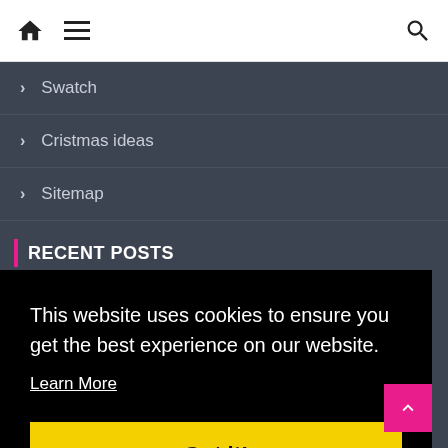Navigation bar with home icon, hamburger menu, and search icon
> Swatch
> Cristmas ideas
> Sitemap
RECENT POSTS
Leading Cosmetic Companies
This website uses cookies to ensure you get the best experience on our website.
Learn More
Got it!